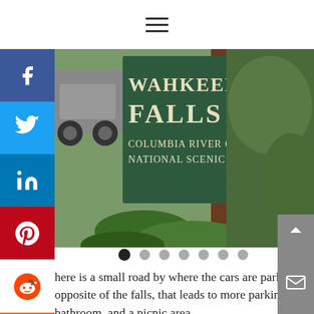☰ (hamburger menu icon)
[Figure (photo): Sign reading 'WAHKEENA FALLS - COLUMBIA RIVER GORGE NATIONAL SCENIC AREA' with a car and green foliage in background]
...here is a small road by where the cars are parked, opposite of the falls, that leads to more parking, a bathroom, and a picnic area.
...om Wahkeena falls there is a trail that will take you the Multnomah Falls visitor center. There is ...nother waterfall area on the other side of Mulnomah with parking as well, but it seemed much farther away and I don't remember the name.
On our way home, we saw that there were areas for...